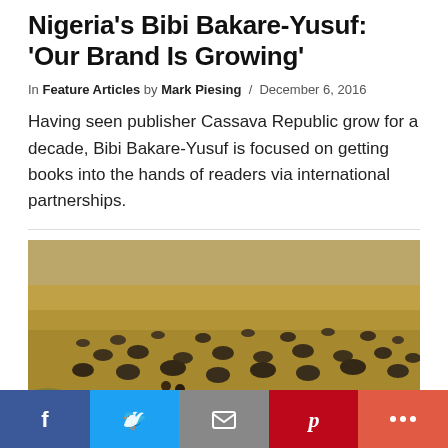Nigeria's Bibi Bakare-Yusuf: 'Our Brand Is Growing'
In Feature Articles by Mark Piesing / December 6, 2016
Having seen publisher Cassava Republic grow for a decade, Bibi Bakare-Yusuf is focused on getting books into the hands of readers via international partnerships.
[Figure (photo): Two people in red cloaks walking through a savannah landscape filled with grazing wildebeest/buffalo.]
Social share buttons: Facebook, Twitter, Email, Pinterest, More